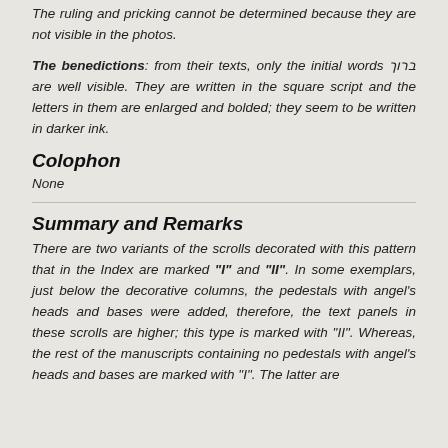The ruling and pricking cannot be determined because they are not visible in the photos.
The benedictions: from their texts, only the initial words ברוך are well visible. They are written in the square script and the letters in them are enlarged and bolded; they seem to be written in darker ink.
Colophon
None
Summary and Remarks
There are two variants of the scrolls decorated with this pattern that in the Index are marked "I" and "II". In some exemplars, just below the decorative columns, the pedestals with angel's heads and bases were added, therefore, the text panels in these scrolls are higher; this type is marked with "II". Whereas, the rest of the manuscripts containing no pedestals with angel's heads and bases are marked with "I". The latter are